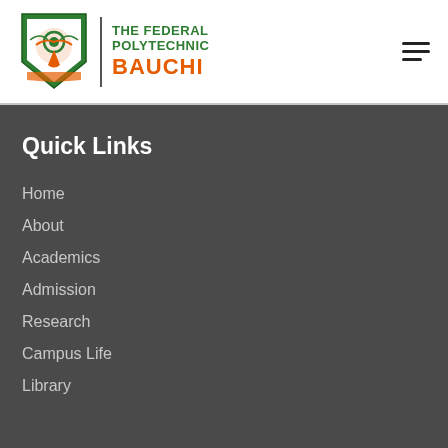[Figure (logo): Federal Polytechnic Bauchi shield logo with green and orange colors]
THE FEDERAL POLYTECHNIC BAUCHI
Quick Links
Home
About
Academics
Admission
Research
Campus Life
Library